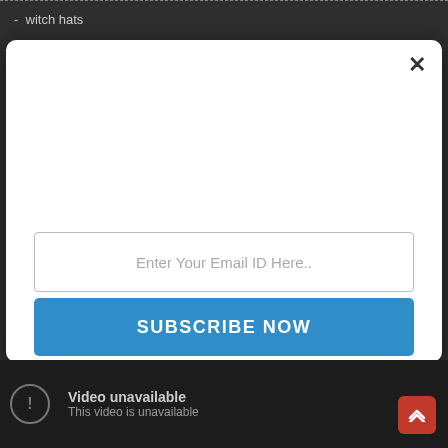- witch hats
[Figure (screenshot): Modal popup with email subscription form. Contains a close (x) button, an email input field with placeholder 'Enter Your Email ID Here..', and a blue 'SUBSCRIBE NOW' button.]
[Figure (screenshot): Video embed section showing 'Video unavailable - This video is unavailable' with a caution icon, on a dark background. A red scroll-to-top button is visible in the bottom right corner.]